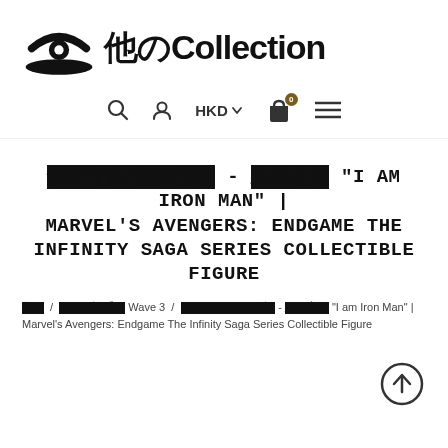[Figure (logo): 他のCollection store logo with stylized eye/hat icon and Japanese/English text]
[Figure (screenshot): Navigation bar with search icon, user icon, HKD currency selector, shopping bag with 0 badge, and hamburger menu]
[corrupted]4[corrupted] - [corrupted] "I AM IRON MAN" | MARVEL'S AVENGERS: ENDGAME THE INFINITY SAGA SERIES COLLECTIBLE FIGURE
[corrupted] / [corrupted] Wave 3 / [corrupted]4[corrupted] - [corrupted] "I am Iron Man" | Marvel's Avengers: Endgame The Infinity Saga Series Collectible Figure